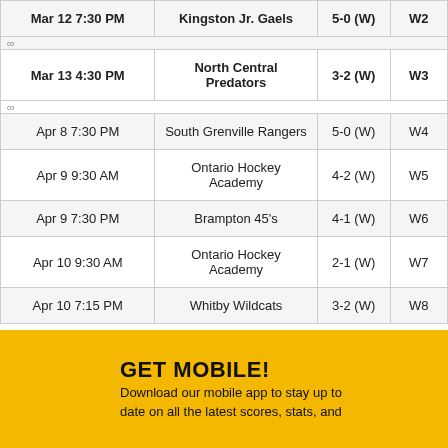| Date | Opponent | Score | Streak |
| --- | --- | --- | --- |
| Mar 12 7:30 PM | Kingston Jr. Gaels | 5-0 (W) | W2 |
| Mar 13 4:30 PM | North Central Predators | 3-2 (W) | W3 |
| Apr 8 7:30 PM | South Grenville Rangers | 5-0 (W) | W4 |
| Apr 9 9:30 AM | Ontario Hockey Academy | 4-2 (W) | W5 |
| Apr 9 7:30 PM | Brampton 45's | 4-1 (W) | W6 |
| Apr 10 9:30 AM | Ontario Hockey Academy | 2-1 (W) | W7 |
| Apr 10 7:15 PM | Whitby Wildcats | 3-2 (W) | W8 |
GET MOBILE!
Download our mobile app to stay up to date on all the latest scores, stats, and